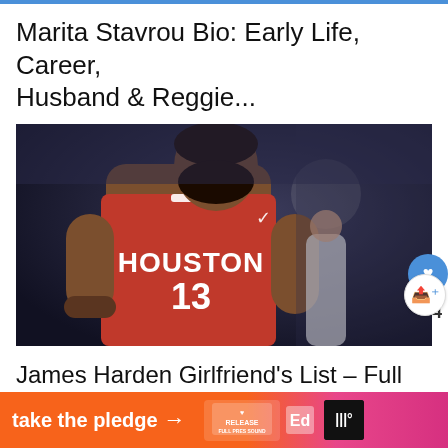Marita Stavrou Bio: Early Life, Career, Husband & Reggie...
[Figure (photo): A basketball player wearing a Houston Rockets red jersey with number 13 (James Harden) standing on a basketball court with a crowd in the background.]
James Harden Girlfriend's List – Full Details...
[Figure (infographic): Advertisement banner: take the pledge with an arrow, Release logo, Ed icon, and waves icon on dark background.]